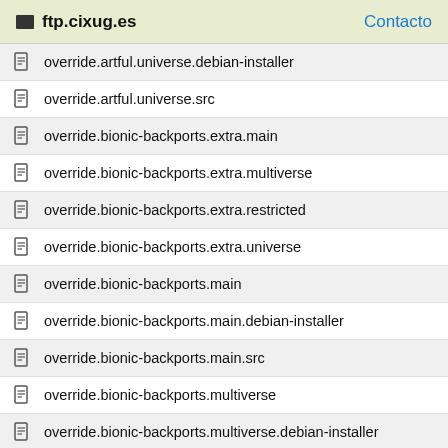ftp.cixug.es  Contacto
override.artful.universe.debian-installer
override.artful.universe.src
override.bionic-backports.extra.main
override.bionic-backports.extra.multiverse
override.bionic-backports.extra.restricted
override.bionic-backports.extra.universe
override.bionic-backports.main
override.bionic-backports.main.debian-installer
override.bionic-backports.main.src
override.bionic-backports.multiverse
override.bionic-backports.multiverse.debian-installer
override.bionic-backports.multiverse.src